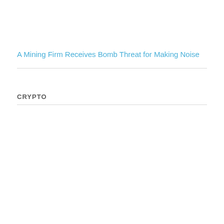A Mining Firm Receives Bomb Threat for Making Noise
CRYPTO